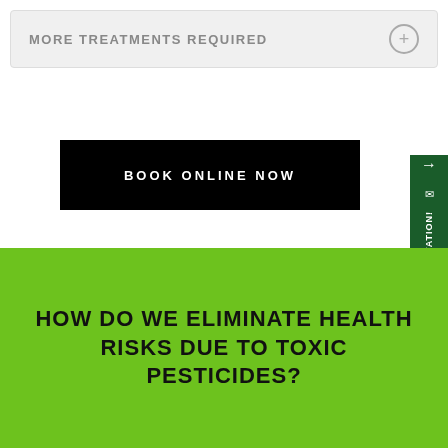MORE TREATMENTS REQUIRED
BOOK ONLINE NOW
[Figure (other): Green sidebar tab with arrow and GET A FREE CONSULTATION! text rotated vertically]
HOW DO WE ELIMINATE HEALTH RISKS DUE TO TOXIC PESTICIDES?